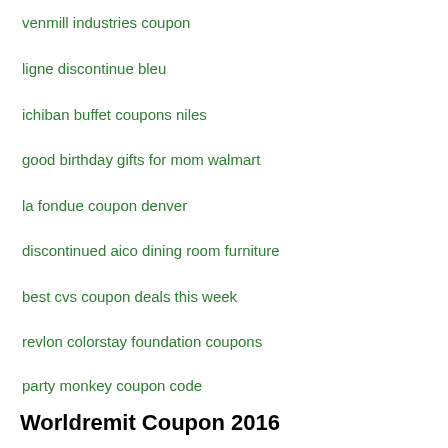venmill industries coupon
ligne discontinue bleu
ichiban buffet coupons niles
good birthday gifts for mom walmart
la fondue coupon denver
discontinued aico dining room furniture
best cvs coupon deals this week
revlon colorstay foundation coupons
party monkey coupon code
Worldremit Coupon 2016